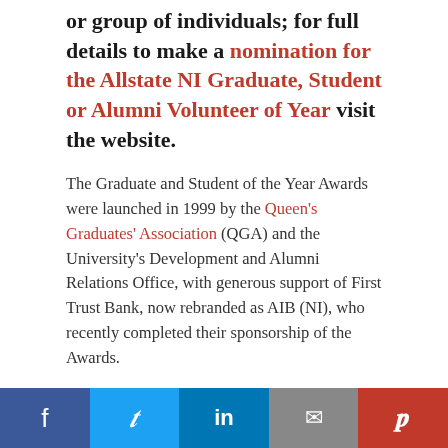or group of individuals; for full details to make a nomination for the Allstate NI Graduate, Student or Alumni Volunteer of Year visit the website.
The Graduate and Student of the Year Awards were launched in 1999 by the Queen's Graduates' Association (QGA) and the University's Development and Alumni Relations Office, with generous support of First Trust Bank, now rebranded as AIB (NI), who recently completed their sponsorship of the Awards.
Acknowledging over two decades of support, and welcoming the new sponsor, QGA President Victoria Denoon, said:
“We are very grateful to the Bank for endorsing the Awards since their inception 21 years ago, and for